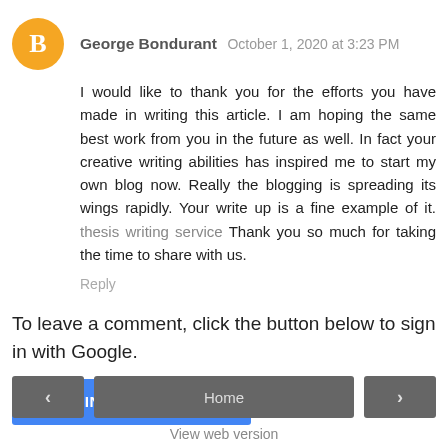George Bondurant  October 1, 2020 at 3:23 PM
I would like to thank you for the efforts you have made in writing this article. I am hoping the same best work from you in the future as well. In fact your creative writing abilities has inspired me to start my own blog now. Really the blogging is spreading its wings rapidly. Your write up is a fine example of it. thesis writing service Thank you so much for taking the time to share with us.
Reply
To leave a comment, click the button below to sign in with Google.
SIGN IN WITH GOOGLE
Home
View web version